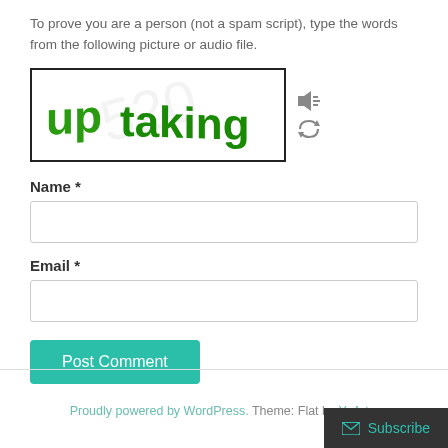To prove you are a person (not a spam script), type the words from the following picture or audio file.
[Figure (other): CAPTCHA image showing the words 'up taking' in green distorted text on a white background with a faint watermark, plus audio and refresh icons to the right]
Name *
Email *
Post Comment
Proudly powered by WordPress. Theme: Flat by YoArts.
Subscribe